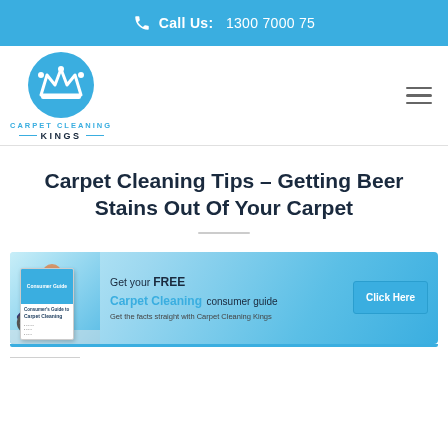Call Us: 1300 7000 75
[Figure (logo): Carpet Cleaning Kings logo with crown icon in blue circle and text below]
Carpet Cleaning Tips – Getting Beer Stains Out Of Your Carpet
[Figure (infographic): Promotional banner: Get your FREE Carpet Cleaning consumer guide. Get the facts straight with Carpet Cleaning Kings. Click Here button.]